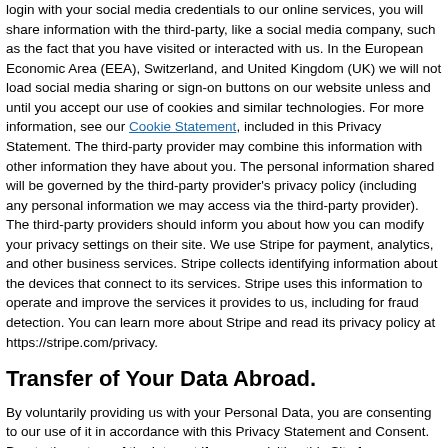login with your social media credentials to our online services, you will share information with the third-party, like a social media company, such as the fact that you have visited or interacted with us. In the European Economic Area (EEA), Switzerland, and United Kingdom (UK) we will not load social media sharing or sign-on buttons on our website unless and until you accept our use of cookies and similar technologies. For more information, see our Cookie Statement, included in this Privacy Statement. The third-party provider may combine this information with other information they have about you. The personal information shared will be governed by the third-party provider's privacy policy (including any personal information we may access via the third-party provider). The third-party providers should inform you about how you can modify your privacy settings on their site. We use Stripe for payment, analytics, and other business services. Stripe collects identifying information about the devices that connect to its services. Stripe uses this information to operate and improve the services it provides to us, including for fraud detection. You can learn more about Stripe and read its privacy policy at https://stripe.com/privacy.
Transfer of Your Data Abroad.
By voluntarily providing us with your Personal Data, you are consenting to our use of it in accordance with this Privacy Statement and Consent. Due to the nature of the Internet if you are visiting this Site from a country other than the United States, your communications will inevitably result in the transfer of information across international boundaries. By visiting this web site you consent to these transfers. If you provide Personal Data to this Site, you acknowledge and agree that such Personal Data may be transferred from your current location to the offices and servers of LEXYL and the affiliates, agents and service providers referred to herein located in the United States